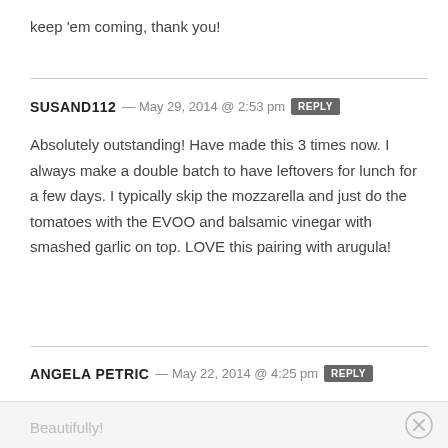keep 'em coming, thank you!
SUSAND112 — May 29, 2014 @ 2:53 pm [REPLY]
Absolutely outstanding! Have made this 3 times now. I always make a double batch to have leftovers for lunch for a few days. I typically skip the mozzarella and just do the tomatoes with the EVOO and balsamic vinegar with smashed garlic on top. LOVE this pairing with arugula!
ANGELA PETRIC — May 22, 2014 @ 4:25 pm [REPLY]
Beautifully!